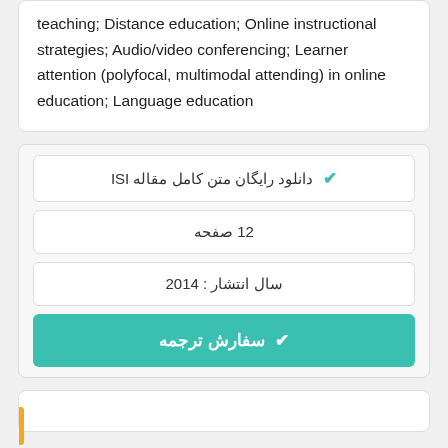teaching; Distance education; Online instructional strategies; Audio/video conferencing; Learner attention (polyfocal, multimodal attending) in online education; Language education
✔ دانلود رایگان متن کامل مقاله ISI
12 صفحه
سال انتشار : 2014
✔ سفارش ترجمه